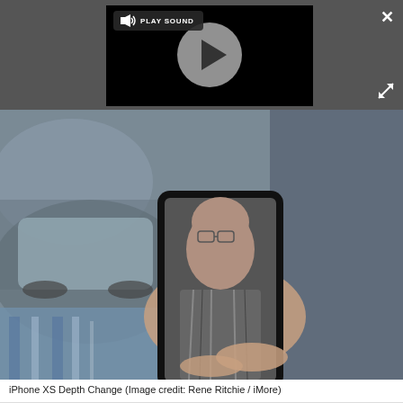[Figure (screenshot): Video player overlay on dark gray background showing PLAY SOUND button with speaker icon and a play button circle. Close (X) button top right, expand arrows bottom right.]
[Figure (photo): Photo of a hand holding an iPhone XS showing Portrait mode / Depth Change feature. The phone screen displays a man with glasses and beard. The background is an outdoor street scene.]
iPhone XS Depth Change (Image credit: Rene Ritchie / iMore)